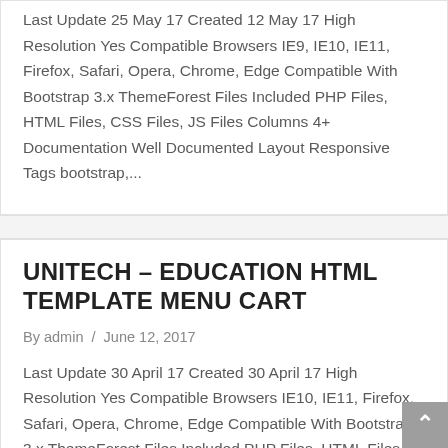Last Update 25 May 17 Created 12 May 17 High Resolution Yes Compatible Browsers IE9, IE10, IE11, Firefox, Safari, Opera, Chrome, Edge Compatible With Bootstrap 3.x ThemeForest Files Included PHP Files, HTML Files, CSS Files, JS Files Columns 4+ Documentation Well Documented Layout Responsive Tags bootstrap,...
UNITECH – EDUCATION HTML TEMPLATE MENU CART
By admin / June 12, 2017
Last Update 30 April 17 Created 30 April 17 High Resolution Yes Compatible Browsers IE10, IE11, Firefox, Safari, Opera, Chrome, Edge Compatible With Bootstrap 3.x ThemeForest Files Included PHP Files, HTML Files,